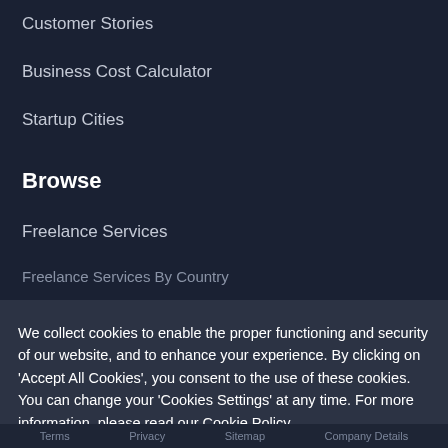Customer Stories
Business Cost Calculator
Startup Cities
Browse
Freelance Services
Freelance Services By Country
We collect cookies to enable the proper functioning and security of our website, and to enhance your experience. By clicking on 'Accept All Cookies', you consent to the use of these cookies. You can change your 'Cookies Settings' at any time. For more information, please read our Cookie Policy
Cookie Settings | ACCEPT ALL COOKIES
Terms   Privacy   Sitemap   Company Details